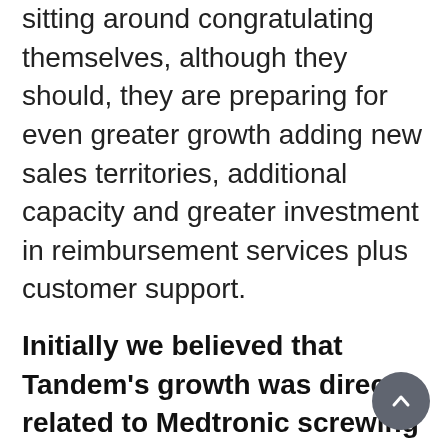sitting around congratulating themselves, although they should, they are preparing for even greater growth adding new sales territories, additional capacity and greater investment in reimbursement services plus customer support.
Initially we believed that Tandem's growth was directly related to Medtronic screwing up Animas conversions and while there is no doubt this has helped there is just too much growth for this to be the sole